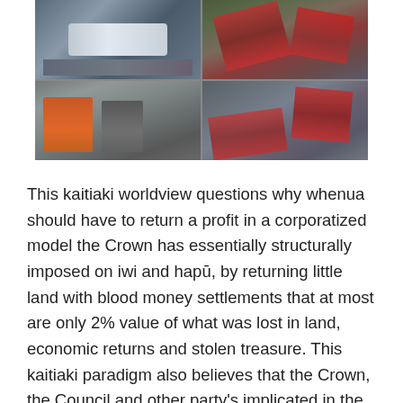[Figure (photo): A collage of four protest photos showing marchers with flags (red, black, and white Māori flags), police vehicles, and crowds of protesters in rainy conditions.]
This kaitiaki worldview questions why whenua should have to return a profit in a corporatized model the Crown has essentially structurally imposed on iwi and hapū, by returning little land with blood money settlements that at most are only 2% value of what was lost in land, economic returns and stolen treasure. This kaitiaki paradigm also believes that the Crown, the Council and other party's implicated in the